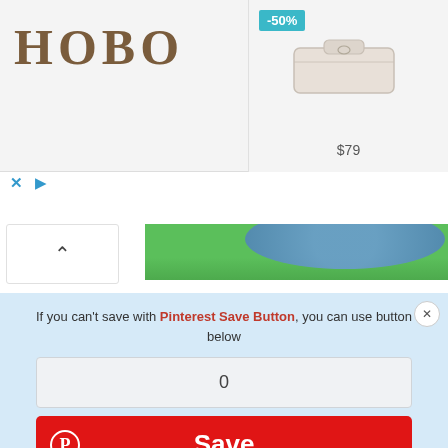[Figure (screenshot): Advertisement banner for HOBO brand showing logo on left, a -50% badge, a beige clutch purse product image, and price $79]
× ▷
[Figure (photo): Green background craft image showing blueberries/blue fuzzy ball at top]
If you can't save with Pinterest Save Button, you can use button below
0
[Figure (screenshot): Red Pinterest Save button with Pinterest circle logo icon on the left and bold white Save text]
[Figure (photo): Green background showing a bent wire/needle tool for inserting snakes into amigurumi head]
The tip of the wire slightly bent. It turns out a loop. The wire itself is also slightly bent in order to insert snakes into the head.
[Figure (photo): Partial view of green background craft images at the bottom of the page]